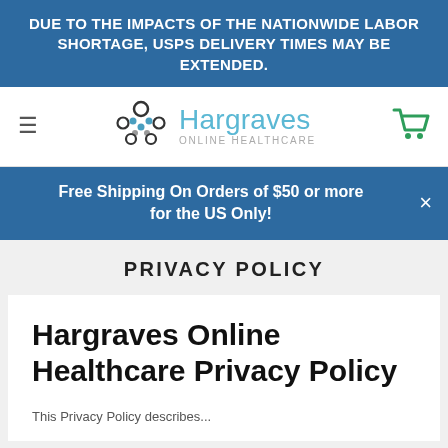DUE TO THE IMPACTS OF THE NATIONWIDE LABOR SHORTAGE, USPS DELIVERY TIMES MAY BE EXTENDED.
[Figure (logo): Hargraves Online Healthcare logo with molecule/dot graphic and teal wordmark]
Free Shipping On Orders of $50 or more for the US Only!
PRIVACY POLICY
Hargraves Online Healthcare Privacy Policy
This Privacy Policy describes...